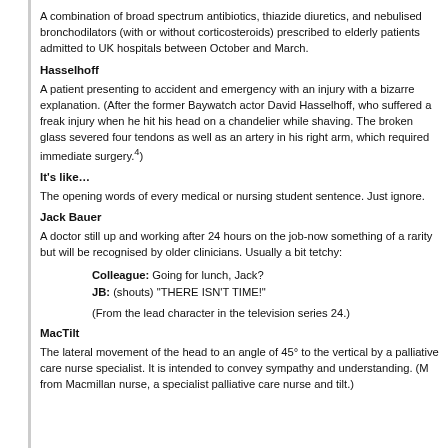A combination of broad spectrum antibiotics, thiazide diuretics, and nebulised bronchodilators (with or without corticosteroids) prescribed to elderly patients admitted to UK hospitals between October and March.
Hasselhoff
A patient presenting to accident and emergency with an injury with a bizarre explanation. (After the former Baywatch actor David Hasselhoff, who suffered a freak injury when he hit his head on a chandelier while shaving. The broken glass severed four tendons as well as an artery in his right arm, which required immediate surgery.4)
It's like…
The opening words of every medical or nursing student sentence. Just ignore.
Jack Bauer
A doctor still up and working after 24 hours on the job-now something of a rarity but will be recognised by older clinicians. Usually a bit tetchy:
Colleague: Going for lunch, Jack?
JB: (shouts) "THERE ISN'T TIME!"
(From the lead character in the television series 24.)
MacTilt
The lateral movement of the head to an angle of 45° to the vertical by a palliative care nurse specialist. It is intended to convey sympathy and understanding. (M from Macmillan nurse, a specialist palliative care nurse and tilt.)